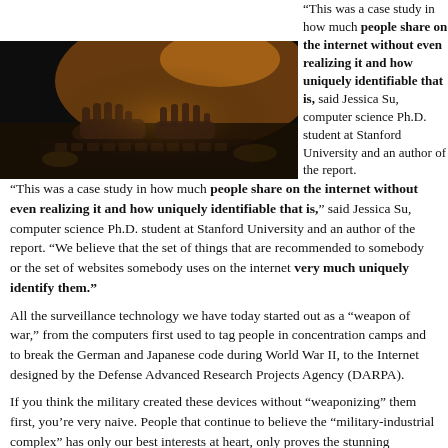[Figure (photo): Dark photo of hands typing on a keyboard at a desk, with warm amber light illuminating the scene from above.]
“This was a case study in how much people share on the internet without even realizing it and how uniquely identifiable that is,” said Jessica Su, computer science Ph.D. student at Stanford University and an author of the report. “We believe that the set of things that are recommended to somebody or the set of websites somebody uses on the internet very much uniquely identify them.”
All the surveillance technology we have today started out as a “weapon of war,” from the computers first used to tag people in concentration camps and to break the German and Japanese code during World War II, to the Internet designed by the Defense Advanced Research Projects Agency (DARPA).
If you think the military created these devices without “weaponizing” them first, you’re very naive. People that continue to believe the “military-industrial complex” has only our best interests at heart, only proves the stunning ignorance and successful brainwashing of main stream media and silencing by the government concerning the facts.